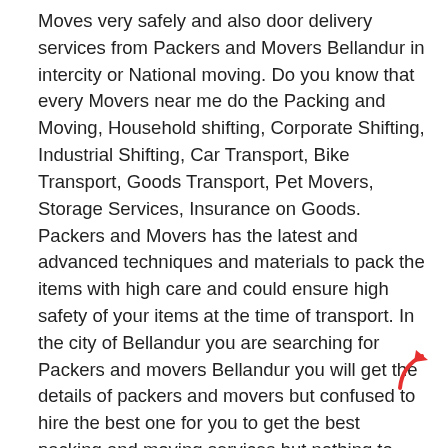Moves very safely and also door delivery services from Packers and Movers Bellandur in intercity or National moving. Do you know that every Movers near me do the Packing and Moving, Household shifting, Corporate Shifting, Industrial Shifting, Car Transport, Bike Transport, Goods Transport, Pet Movers, Storage Services, Insurance on Goods. Packers and Movers has the latest and advanced techniques and materials to pack the items with high care and could ensure high safety of your items at the time of transport. In the city of Bellandur you are searching for Packers and movers Bellandur you will get the details of packers and movers but confused to hire the best one for you to get the best packing and moving services but nothing to worry SearchVeb provides you the list of Verified Packers and Movers in Bellandur for House Shifting, Corporate Shifting, Industrial Shifting, Car Transport etc. What are you searching for Packers and Movers near me and also people look Moving on Quotes to decide which Packers and Movers Bellandur are good for the shifting of stuff on price but never do that to decide the Packers & Movers on pricing who are costing you low but make sure the materials, staff and vehicles planned well according to your requirement and understand the pricing strategies before finalization which movers